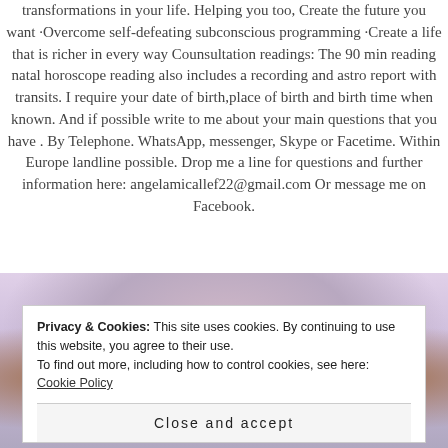transformations in your life. Helping you too, Create the future you want ·Overcome self-defeating subconscious programming ·Create a life that is richer in every way Counsultation readings: The 90 min reading natal horoscope reading also includes a recording and astro report with transits. I require your date of birth,place of birth and birth time when known. And if possible write to me about your main questions that you have . By Telephone. WhatsApp, messenger, Skype or Facetime. Within Europe landline possible. Drop me a line for questions and further information here: angelamicallef22@gmail.com Or message me on Facebook.
[Figure (photo): Decorative spiritual/mystical image with two figures or faces on sides and colorful abstract background in purples, blues, and warm tones]
Privacy & Cookies: This site uses cookies. By continuing to use this website, you agree to their use. To find out more, including how to control cookies, see here: Cookie Policy
Close and accept